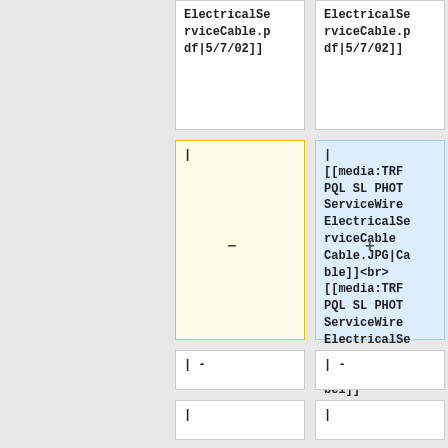ElectricalServiceCable.pdf|5/7/02]]
ElectricalServiceCable.pdf|5/7/02]]
|
| [[media:TRF PQL SL PHOT ServiceWire ElectricalServiceCable Cable.JPG|Cable]]<br> [[media:TRF PQL SL PHOT ServiceWire ElectricalServiceCable Label.JPG|Label]]
|-
|-
|
|